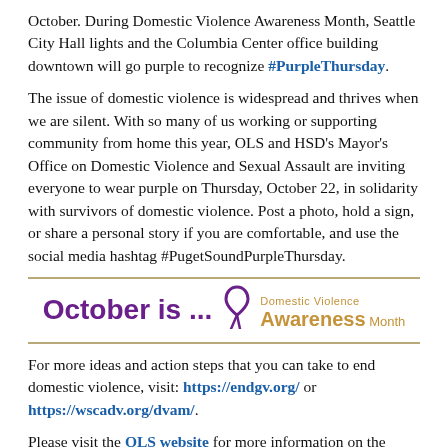October. During Domestic Violence Awareness Month, Seattle City Hall lights and the Columbia Center office building downtown will go purple to recognize #PurpleThursday.
The issue of domestic violence is widespread and thrives when we are silent. With so many of us working or supporting community from home this year, OLS and HSD’s Mayor’s Office on Domestic Violence and Sexual Assault are inviting everyone to wear purple on Thursday, October 22, in solidarity with survivors of domestic violence. Post a photo, hold a sign, or share a personal story if you are comfortable, and use the social media hashtag #PugetSoundPurpleThursday.
[Figure (infographic): Banner reading 'October is ...' with a purple ribbon graphic and 'Domestic Violence Awareness Month' in gold text, bordered by gold/tan horizontal lines.]
For more ideas and action steps that you can take to end domestic violence, visit: https://endgv.org/ or https://wscadv.org/dvam/.
Please visit the OLS website for more information on the PSST Ordinance or call 206-256-5297. And, visit the Seattle